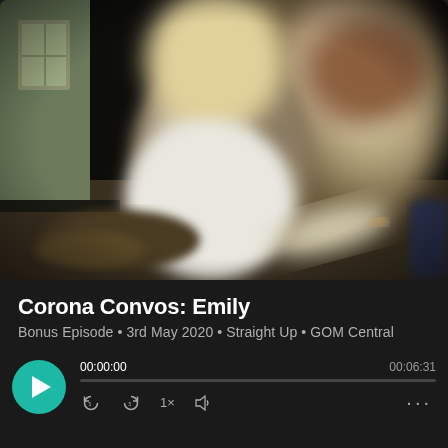[Figure (photo): Blurred photo of a baby or toddler in white clothing reaching out toward an adult in beige/tan clothing, taken outdoors with a dark background and green wall visible on left side.]
Corona Convos: Emily
Bonus Episode • 3rd May 2020 • Straight Up • GOM Central
00:00:00   00:06:31 [audio player controls]